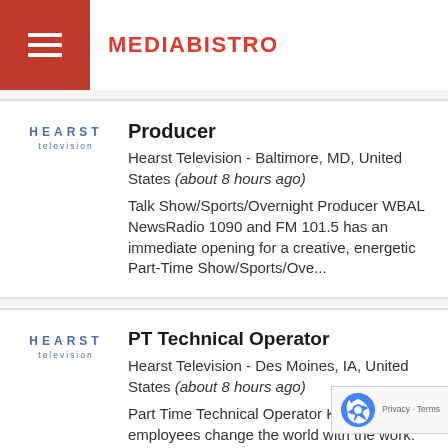MEDIABISTRO
[Figure (logo): Hearst Television logo with HEARST in spaced blue letters and 'television' below]
Producer
Hearst Television - Baltimore, MD, United States (about 8 hours ago)
Talk Show/Sports/Overnight Producer WBAL NewsRadio 1090 and FM 101.5 has an immediate opening for a creative, energetic Part-Time Show/Sports/Ove...
[Figure (logo): Hearst Television logo with HEARST in spaced blue letters and 'television' below]
PT Technical Operator
Hearst Television - Des Moines, IA, United States (about 8 hours ago)
Part Time Technical Operator KCCI employees change the world with the work.  Our journalists produce award-winning content that has...